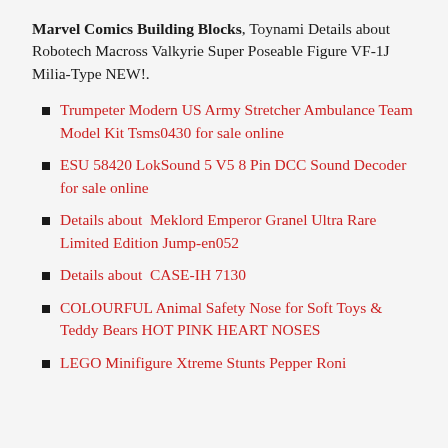Marvel Comics Building Blocks, Toynami Details about Robotech Macross Valkyrie Super Poseable Figure VF-1J Milia-Type NEW!.
Trumpeter Modern US Army Stretcher Ambulance Team Model Kit Tsms0430 for sale online
ESU 58420 LokSound 5 V5 8 Pin DCC Sound Decoder for sale online
Details about  Meklord Emperor Granel Ultra Rare Limited Edition Jump-en052
Details about  CASE-IH 7130
COLOURFUL Animal Safety Nose for Soft Toys & Teddy Bears HOT PINK HEART NOSES
LEGO Minifigure Xtreme Stunts Pepper Roni